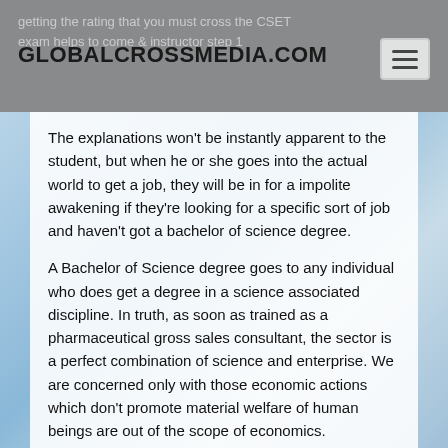GLOBALCROSSMEDIA.COM
The explanations won't be instantly apparent to the student, but when he or she goes into the actual world to get a job, they will be in for a impolite awakening if they're looking for a specific sort of job and haven't got a bachelor of science degree.
A Bachelor of Science degree goes to any individual who does get a degree in a science associated discipline. In truth, as soon as trained as a pharmaceutical gross sales consultant, the sector is a perfect combination of science and enterprise. We are concerned only with those economic actions which don't promote material welfare of human beings are out of the scope of economics.